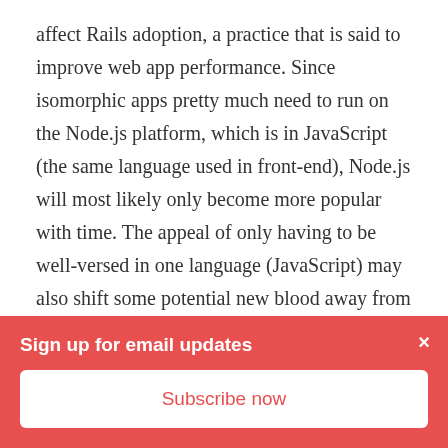affect Rails adoption, a practice that is said to improve web app performance. Since isomorphic apps pretty much need to run on the Node.js platform, which is in JavaScript (the same language used in front-end), Node.js will most likely only become more popular with time. The appeal of only having to be well-versed in one language (JavaScript) may also shift some potential new blood away from learning Ruby. Google's Go is another back-end alternative that has received some attention in the last two years.
However, since Rails continues to get frequent updates, it will still remain relevant for a while. Not to mention, it
Sign up for email updates
Subscribe now